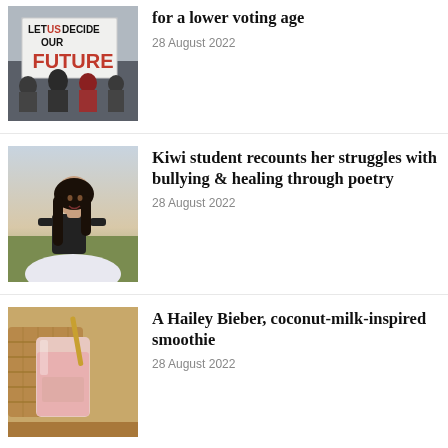[Figure (photo): Protest crowd holding signs including 'LET US DECIDE OUR FUTURE' with red text]
for a lower voting age
28 August 2022
[Figure (photo): Young woman with long dark hair sitting in a field wearing a black t-shirt and a white tulle skirt]
Kiwi student recounts her struggles with bullying & healing through poetry
28 August 2022
[Figure (photo): Pink smoothie in a glass jar with a gold straw, next to a wicker basket on a wooden surface]
A Hailey Bieber, coconut-milk-inspired smoothie
28 August 2022